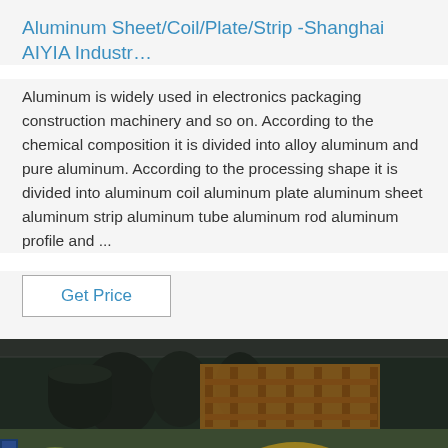Aluminum Sheet/Coil/Plate/Strip -Shanghai AIYIA Industr…
Aluminum is widely used in electronics packaging construction machinery and so on. According to the chemical composition it is divided into alloy aluminum and pure aluminum. According to the processing shape it is divided into aluminum coil aluminum plate aluminum sheet aluminum strip aluminum tube aluminum rod aluminum profile and ...
Get Price
[Figure (photo): Industrial photo showing large coils of aluminum sheet/strip wrapped in green protective film, stored in a factory warehouse with machinery visible in the background. A watermark reading TOP with a logo is visible in the lower right corner.]